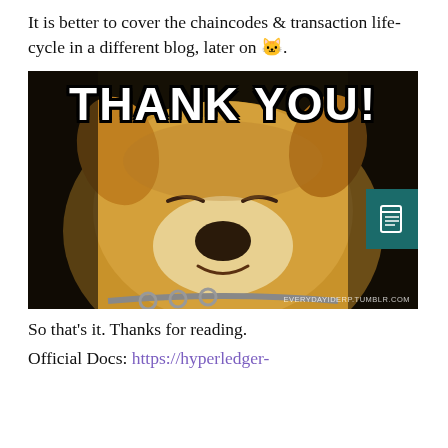It is better to cover the chaincodes & transaction life-cycle in a different blog, later on 🐱.
[Figure (photo): A meme image showing a smiling Shiba Inu dog with the text 'THANK YOU!' in bold white letters. Watermark reads 'EVERYDAYIDERP.TUMBLR.COM']
So that's it. Thanks for reading.
Official Docs: https://hyperledger-